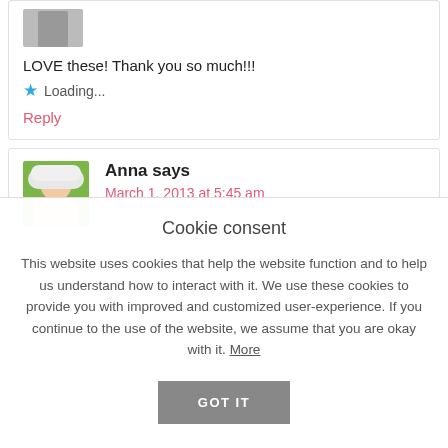LOVE these! Thank you so much!!!
Loading...
Reply
Anna says
March 1, 2013 at 5:45 am
Cookie consent
This website uses cookies that help the website function and to help us understand how to interact with it. We use these cookies to provide you with improved and customized user-experience. If you continue to the use of the website, we assume that you are okay with it. More
GOT IT